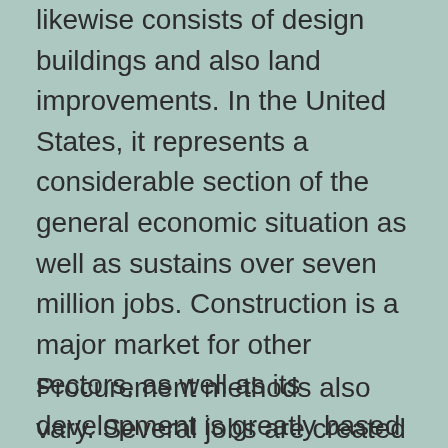likewise consists of design buildings and also land improvements. In the United States, it represents a considerable section of the general economic situation as well as sustains over seven million jobs. Construction is a major market for other sectors, as well as its development is greatly based on the degree of business task in the remainder of the nation. Listed here are some facts as well as stats on the construction market in the united state, state, and also metro locations.
Procurement methods also vary. Several jobs are created by a particular company that has